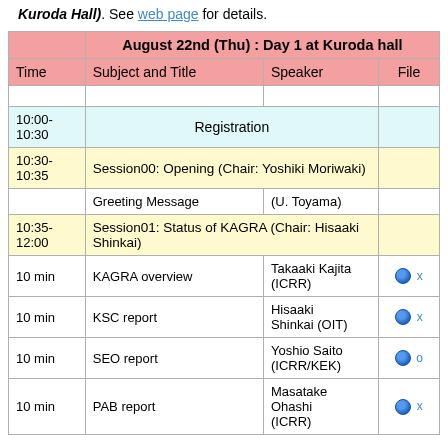Kuroda Hall). See web page for details.
|  | August 22nd (Thu) : Day 1 at Kuroda hall |  |  |
| --- | --- | --- | --- |
| Time | Subject and Title | Speaker | File |
|  |  |  |  |
| 10:00-10:30 | Registration |  |  |
| 10:30-10:35 | Session00: Opening (Chair: Yoshiki Moriwaki) |  |  |
|  | Greeting Message | (U. Toyama) |  |
| 10:35-12:00 | Session01: Status of KAGRA (Chair: Hisaaki Shinkai) |  |  |
| 10 min | KAGRA overview | Takaaki Kajita (ICRR) | 🌐 x |
| 10 min | KSC report | Hisaaki Shinkai (OIT) | 🌐 x |
| 10 min | SEO report | Yoshio Saito (ICRR/KEK) | 🌐 o |
| 10 min | PAB report | Masatake Ohashi (ICRR) | 🌐 x |